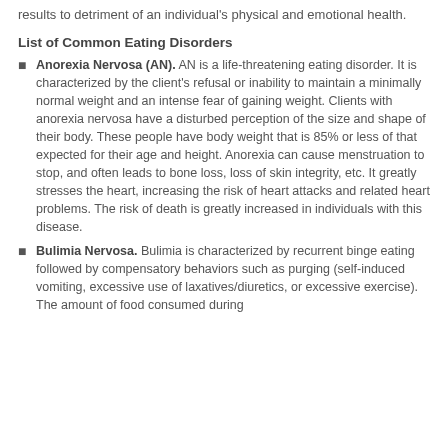results to detriment of an individual's physical and emotional health.
List of Common Eating Disorders
Anorexia Nervosa (AN). AN is a life-threatening eating disorder. It is characterized by the client's refusal or inability to maintain a minimally normal weight and an intense fear of gaining weight. Clients with anorexia nervosa have a disturbed perception of the size and shape of their body. These people have body weight that is 85% or less of that expected for their age and height. Anorexia can cause menstruation to stop, and often leads to bone loss, loss of skin integrity, etc. It greatly stresses the heart, increasing the risk of heart attacks and related heart problems. The risk of death is greatly increased in individuals with this disease.
Bulimia Nervosa. Bulimia is characterized by recurrent binge eating followed by compensatory behaviors such as purging (self-induced vomiting, excessive use of laxatives/diuretics, or excessive exercise). The amount of food consumed during